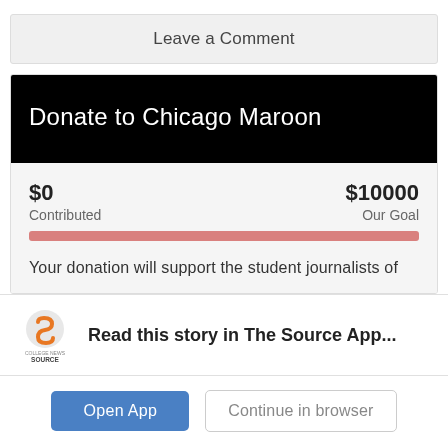Leave a Comment
Donate to Chicago Maroon
$0 Contributed   $10000 Our Goal
Your donation will support the student journalists of
Read this story in The Source App...
Open App   Continue in browser